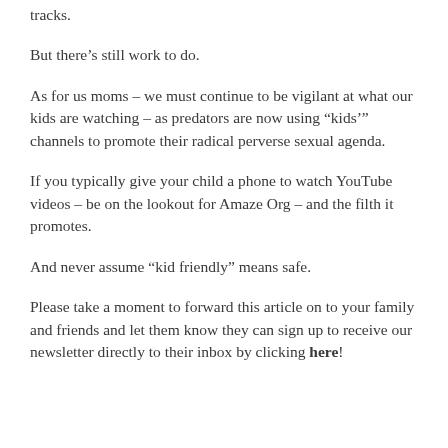tracks.
But there's still work to do.
As for us moms – we must continue to be vigilant at what our kids are watching – as predators are now using “kids'” channels to promote their radical perverse sexual agenda.
If you typically give your child a phone to watch YouTube videos – be on the lookout for Amaze Org – and the filth it promotes.
And never assume “kid friendly” means safe.
Please take a moment to forward this article on to your family and friends and let them know they can sign up to receive our newsletter directly to their inbox by clicking here!